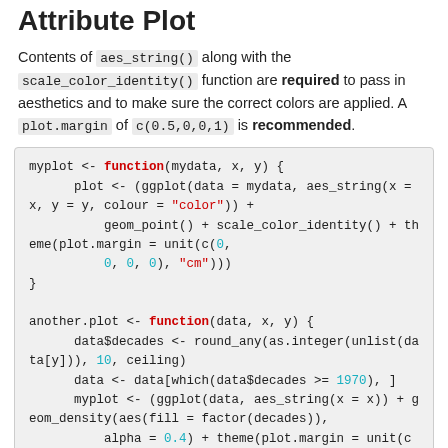Attribute Plot
Contents of aes_string() along with the scale_color_identity() function are required to pass in aesthetics and to make sure the correct colors are applied. A plot.margin of c(0.5,0,0,1) is recommended.
myplot <- function(mydata, x, y) {
    plot <- (ggplot(data = mydata, aes_string(x = x, y = y, colour = "color")) +
        geom_point() + scale_color_identity() + theme(plot.margin = unit(c(0,
        0, 0, 0), "cm")))
}

another.plot <- function(data, x, y) {
    data$decades <- round_any(as.integer(unlist(data[y])), 10, ceiling)
    data <- data[which(data$decades >= 1970), ]
    myplot <- (ggplot(data, aes_string(x = x)) + geom_density(aes(fill = factor(decades)),
        alpha = 0.4) + theme(plot.margin = unit(c(0, 0, 0, 0), "cm"), legend.key.size = unit(0.4,
        "cm")))